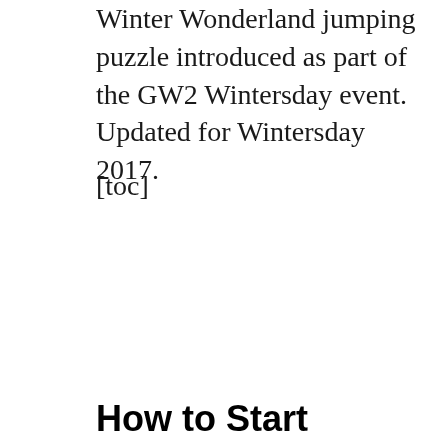Winter Wonderland jumping puzzle introduced as part of the GW2 Wintersday event. Updated for Wintersday 2017.
[toc]
How to Start